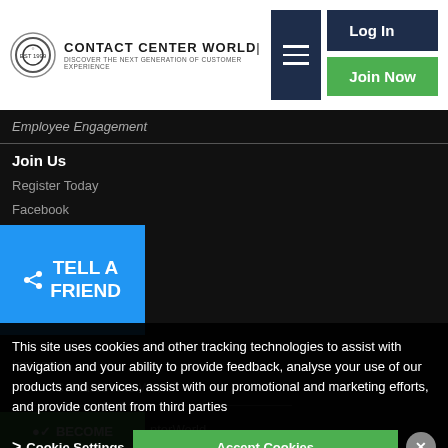Contact Center World | Discover The Next Generation Of Customer Experience
Employee Engagement
Join Us
Register Today
Facebook
[Figure (infographic): Blue 'Tell A Friend' share button overlay]
Instagram
ContactCenterWorld
[Figure (infographic): Green 'Become' button overlay]
ContactCenterWorld
This site uses cookies and other tracking technologies to assist with navigation and your ability to provide feedback, analyse your use of our products and services, assist with our promotional and marketing efforts, and provide content from third parties
Enter Awards
+ Much More
Directory